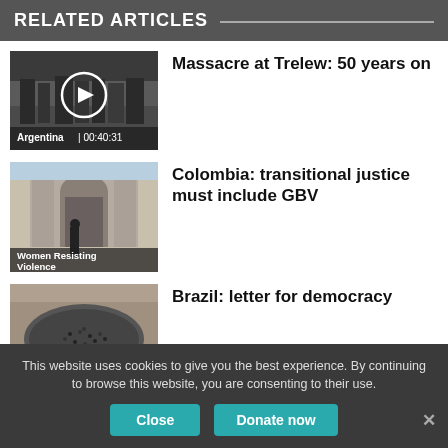RELATED ARTICLES
[Figure (photo): Black and white photo of a group of people, Argentina, video thumbnail with play button, duration 00:40:31]
Massacre at Trelew: 50 years on
[Figure (photo): Photo of a building with an archway, Women Resisting Violence category]
Colombia: transitional justice must include GBV
[Figure (photo): Aerial photo of a large crowd gathered, Elections category]
Brazil: letter for democracy
This website uses cookies to give you the best experience. By continuing to browse this website, you are consenting to their use.